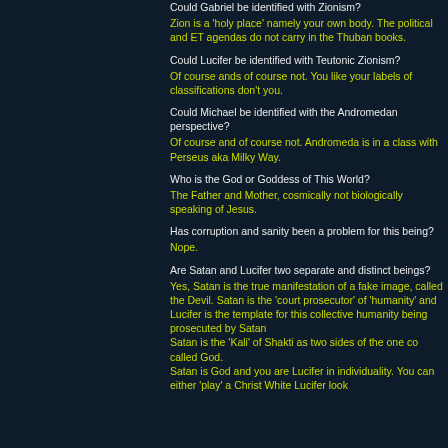Could Gabriel be identified with Zionism?
Zion is a 'holy place' namely your own body. The political and ET agendas do not carry in the Thuban books.
Could Lucifer be identified with Teutonic Zionism?
Of course ands of course not. You like your labels of classifications don't you.
Could Michael be identified with the Andromedan perspective?
Of course and of course not. Andromeda is in a class with Perseus aka Milky Way.
Who is the God or Goddess of This World?
The Father and Mother, cosmically not biologically speaking of Jesus.
Has corruption and sanity been a problem for this being?
Nope.
Are Satan and Lucifer two separate and distinct beings?
Yes, Satan is the true manifestation of a fake image, called the Devil. Satan is the 'court prosecutor' of 'humanity' and Lucifer is the template for this collective humanity being prosecuted by Satan
Satan is the 'Kali' of Shakti as two sides of the one co called God.
Satan is God and you are Lucifer in individuality. You can either 'play' a Christ White Lucifer look